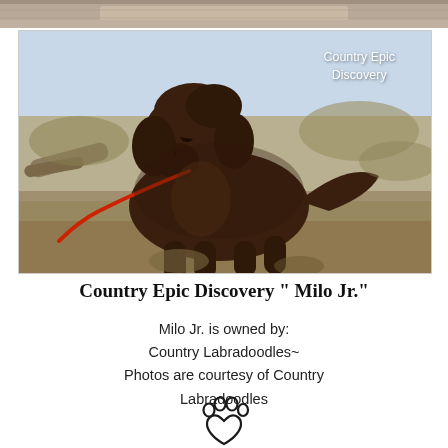[Figure (photo): Partial top strip of a photo showing sandy/rocky ground, cropped at the top of the page]
[Figure (photo): A large chocolate brown Labradoodle dog standing on sandy/rocky ground outdoors with shrubs and a light blue sky in the background. A red leash is visible. Watermark text 'Country Epic Discovery' appears in white in the upper right of the photo.]
Country Epic Discovery " Milo Jr."
Milo Jr. is owned by: Country Labradoodles~ Photos are courtesy of Country Labradoodles
[Figure (illustration): Paw print icon outline in black]